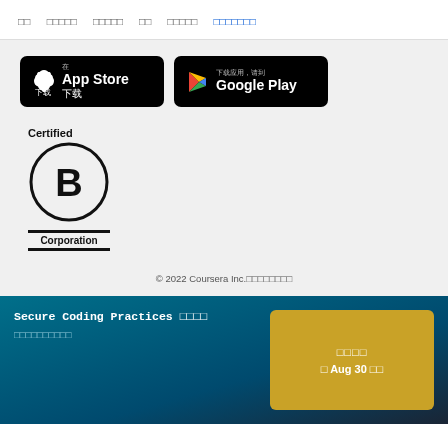□□  □□□□□  □□□□□  □□  □□□□□  □□□□□□□
[Figure (logo): App Store download button (black rounded rectangle with Apple logo)]
[Figure (logo): Google Play download button (black rounded rectangle with Play logo, Chinese text 下载应用，请到)]
[Figure (logo): Certified B Corporation logo — circle with B, two horizontal bars, text Certified above and Corporation below]
© 2022 Coursera Inc.□□□□□□□□
Secure Coding Practices □□□□ □□□□□□□□□□
□□□□ □ Aug 30 □□